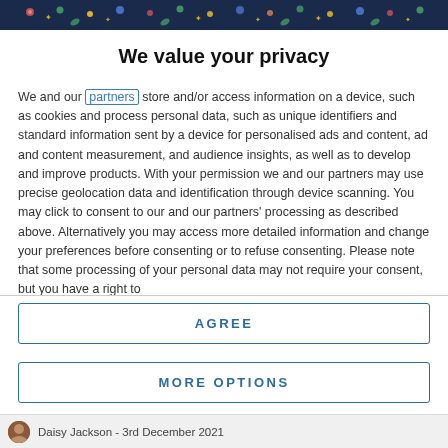[Figure (illustration): Dark blue decorative banner with colorful icons (raindrops, stars, leaves) at the top of the page]
We value your privacy
We and our partners store and/or access information on a device, such as cookies and process personal data, such as unique identifiers and standard information sent by a device for personalised ads and content, ad and content measurement, and audience insights, as well as to develop and improve products. With your permission we and our partners may use precise geolocation data and identification through device scanning. You may click to consent to our and our partners' processing as described above. Alternatively you may access more detailed information and change your preferences before consenting or to refuse consenting. Please note that some processing of your personal data may not require your consent, but you have a right to
AGREE
MORE OPTIONS
Daisy Jackson - 3rd December 2021